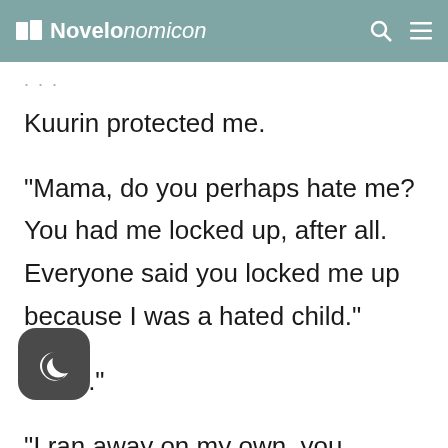Novelonomicon
Kuurin protected me.
“Mama, do you perhaps hate me? You had me locked up, after all. Everyone said you locked me up because I was a hated child.”
“Little.”
“I ran away on my own, you know? I